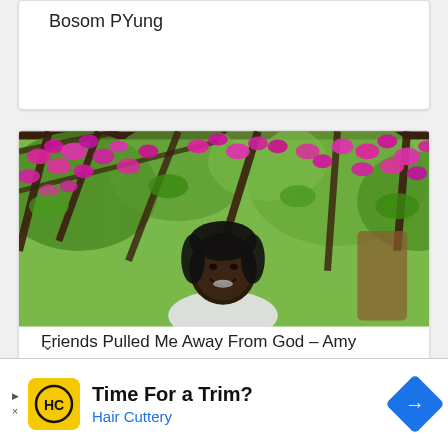Bosom PYung
[Figure (photo): Woman smiling under a pergola covered in bright pink bougainvillea flowers and green foliage]
Friends Pulled Me Away From God – Amy Newman
[Figure (infographic): Hair Cuttery advertisement: yellow logo with HC text, 'Time For a Trim?' headline, 'Hair Cuttery' subtext in blue, blue diamond navigation arrow icon]